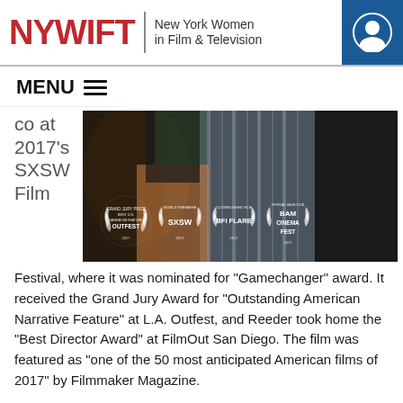NYWIFT | New York Women in Film & Television
MENU
[Figure (photo): Film promotional image showing two people with festival laurel awards: Grand Jury Prize Best U.S. Narrative Feature - OUTFEST 2017, World Premiere SXSW 2017, Closing Night Film BFI FLARE 2017, Official Selection BAM CINEMA FEST 2017]
co at 2017's SXSW Film Festival, where it was nominated for “Gamechanger” award. It received the Grand Jury Award for “Outstanding American Narrative Feature” at L.A. Outfest, and Reeder took home the “Best Director Award” at FilmOut San Diego. The film was featured as “one of the 50 most anticipated American films of 2017” by Filmmaker Magazine.